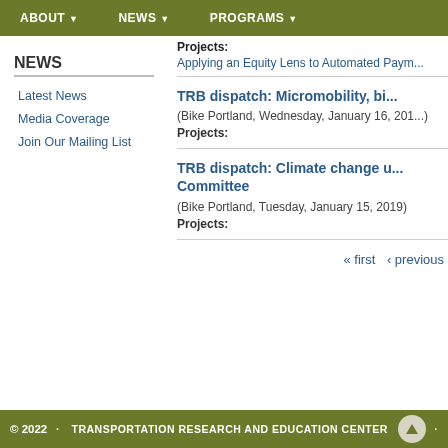ABOUT ▼   NEWS ▼   PROGRAMS ▼
Projects:
Applying an Equity Lens to Automated Paym...
NEWS
Latest News
Media Coverage
Join Our Mailing List
TRB dispatch: Micromobility, bi...
(Bike Portland, Wednesday, January 16, 201...)
Projects:
TRB dispatch: Climate change u... Committee
(Bike Portland, Tuesday, January 15, 2019)
Projects:
« first  ‹ previous
© 2022 · TRANSPORTATION RESEARCH AND EDUCATION CENTER